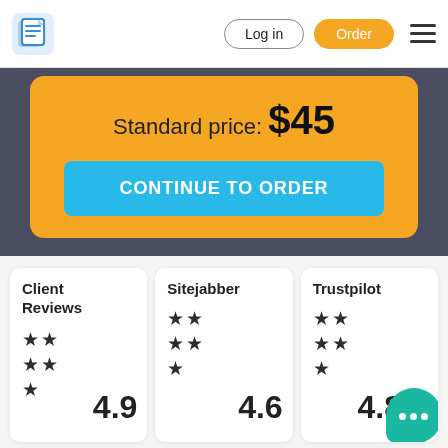[Figure (screenshot): Navigation bar with logo, Log in button, Order button, and hamburger menu]
Standard price: $45
CONTINUE TO ORDER
Client Reviews
4.9
Sitejabber
4.6
Trustpilot
4.8